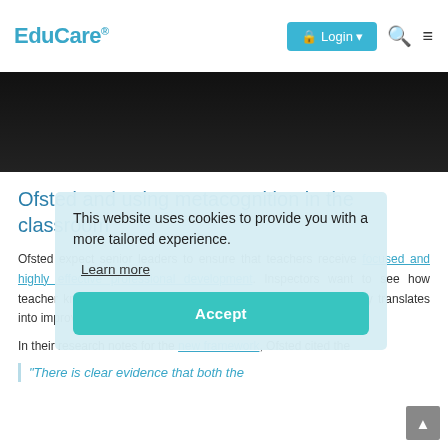EduCare® Login Search Menu
[Figure (photo): Dark banner image below navigation bar]
Ofsted and using metacognition in the classroom
Ofsted expect senior leaders to ensure that teachers receive focused and highly effective professional development. Inspectors want to see how teacher knowledge of subject and related pedagogy consistently translates into improvements in the teaching of the curriculum.
In their research notes for the new framework, Ofsted cited the...
"There is clear evidence that both the
This website uses cookies to provide you with a more tailored experience. Learn more Accept